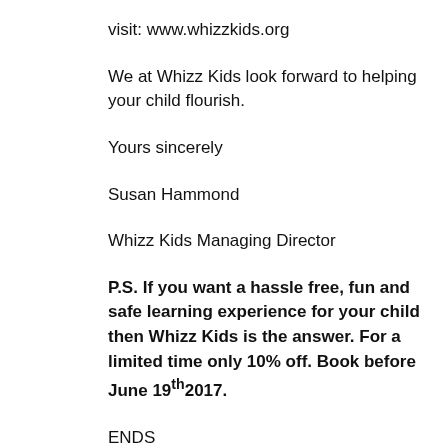visit: www.whizzkids.org
We at Whizz Kids look forward to helping your child flourish.
Yours sincerely
Susan Hammond
Whizz Kids Managing Director
P.S. If you want a hassle free, fun and safe learning experience for your child then Whizz Kids is the answer. For a limited time only 10% off. Book before June 19th2017.
ENDS